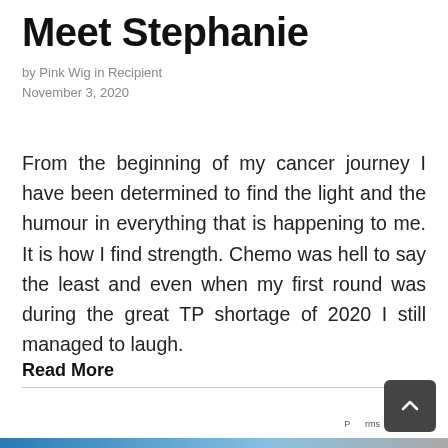Meet Stephanie
by Pink Wig in Recipient
November 3, 2020
From the beginning of my cancer journey I have been determined to find the light and the humour in everything that is happening to me. It is how I find strength. Chemo was hell to say the least and even when my first round was during the great TP shortage of 2020 I still managed to laugh.
Read More